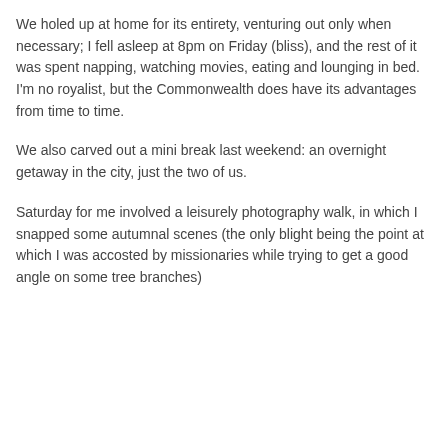We holed up at home for its entirety, venturing out only when necessary; I fell asleep at 8pm on Friday (bliss), and the rest of it was spent napping, watching movies, eating and lounging in bed. I'm no royalist, but the Commonwealth does have its advantages from time to time.
We also carved out a mini break last weekend: an overnight getaway in the city, just the two of us.
Saturday for me involved a leisurely photography walk, in which I snapped some autumnal scenes (the only blight being the point at which I was accosted by missionaries while trying to get a good angle on some tree branches)